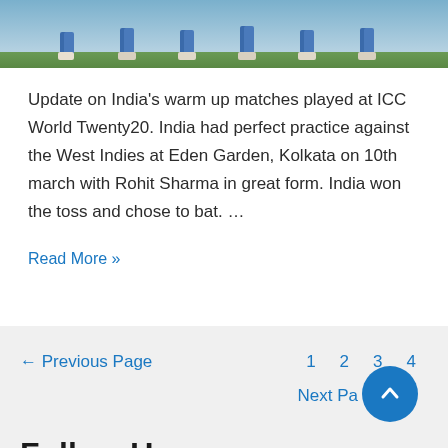[Figure (photo): Cricket players' feet and lower legs on a grass field, wearing blue cricket uniforms and white/colored shoes]
Update on India's warm up matches played at ICC World Twenty20. India had perfect practice against the West Indies at Eden Garden, Kolkata on 10th march with Rohit Sharma in great form. India won the toss and chose to bat. …
Read More »
← Previous Page   1   2   3   4   Next Pa…